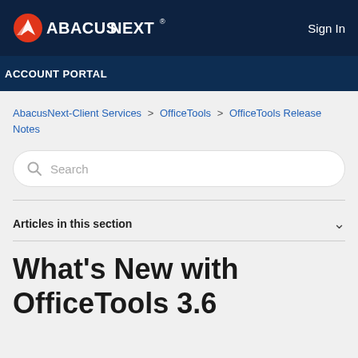[Figure (logo): AbacusNext logo with orange/red circular icon and white text 'ABACUSNEXT' on dark navy background]
Sign In
ACCOUNT PORTAL
AbacusNext-Client Services > OfficeTools > OfficeTools Release Notes
Search
Articles in this section
What's New with OfficeTools 3.6